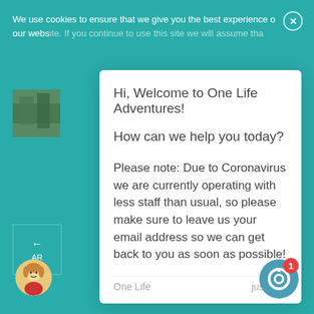We use cookies to ensure that we give you the best experience on our website. If you continue to use this site we will assume that...
Hi, Welcome to One Life Adventures!
How can we help you today?
Please note: Due to Coronavirus we are currently operating with less staff than usual, so please make sure to leave us your email address so we can get back to you as soon as possible!
One Life    just now